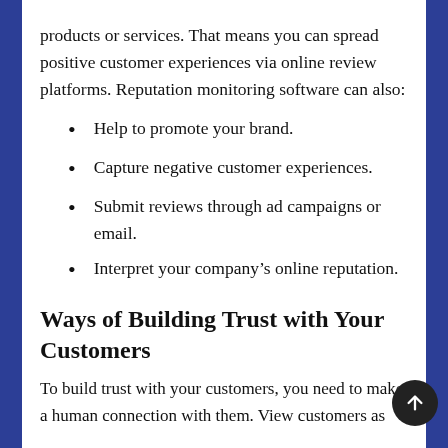products or services. That means you can spread positive customer experiences via online review platforms. Reputation monitoring software can also:
Help to promote your brand.
Capture negative customer experiences.
Submit reviews through ad campaigns or email.
Interpret your company's online reputation.
Ways of Building Trust with Your Customers
To build trust with your customers, you need to make a human connection with them. View customers as